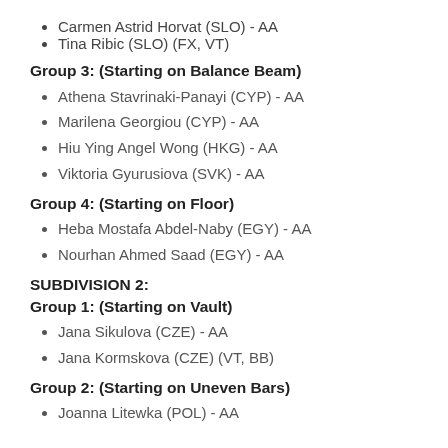Carmen Astrid Horvat (SLO) - AA
Tina Ribic (SLO) (FX, VT)
Group 3: (Starting on Balance Beam)
Athena Stavrinaki-Panayi (CYP) - AA
Marilena Georgiou (CYP) - AA
Hiu Ying Angel Wong (HKG) - AA
Viktoria Gyurusiova (SVK) - AA
Group 4: (Starting on Floor)
Heba Mostafa Abdel-Naby (EGY) - AA
Nourhan Ahmed Saad (EGY) - AA
SUBDIVISION 2:
Group 1: (Starting on Vault)
Jana Sikulova (CZE) - AA
Jana Kormskova (CZE) (VT, BB)
Group 2: (Starting on Uneven Bars)
Joanna Litewka (POL) - AA